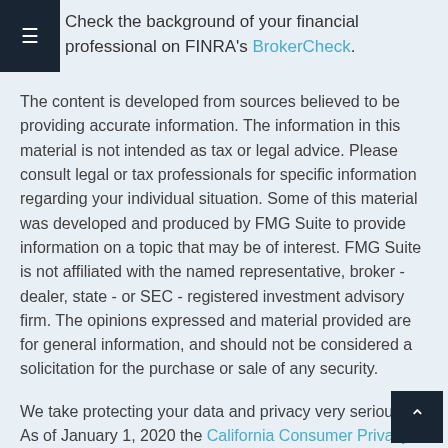Check the background of your financial professional on FINRA's BrokerCheck.
The content is developed from sources believed to be providing accurate information. The information in this material is not intended as tax or legal advice. Please consult legal or tax professionals for specific information regarding your individual situation. Some of this material was developed and produced by FMG Suite to provide information on a topic that may be of interest. FMG Suite is not affiliated with the named representative, broker - dealer, state - or SEC - registered investment advisory firm. The opinions expressed and material provided are for general information, and should not be considered a solicitation for the purchase or sale of any security.
We take protecting your data and privacy very seriously. As of January 1, 2020 the California Consumer Privacy Act